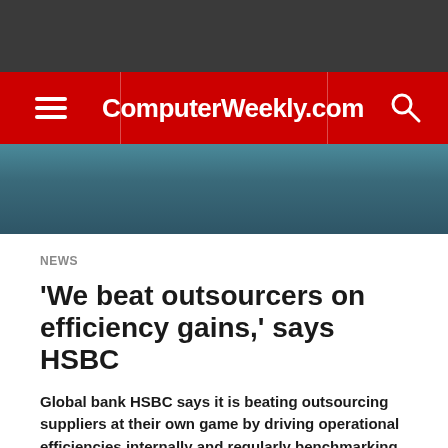ComputerWeekly.com
NEWS
‘We beat outsourcers on efficiency gains,’ says HSBC
Global bank HSBC says it is beating outsourcing suppliers at their own game by driving operational efficiencies internally and regularly benchmarking to ensure the